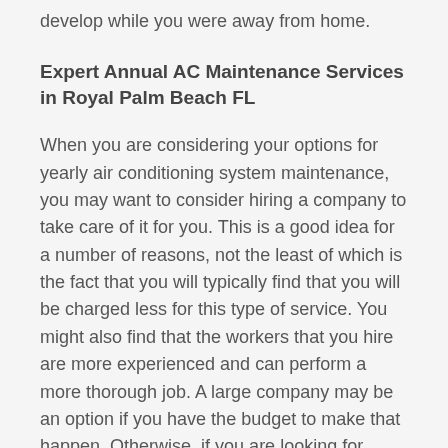develop while you were away from home.
Expert Annual AC Maintenance Services in Royal Palm Beach FL
When you are considering your options for yearly air conditioning system maintenance, you may want to consider hiring a company to take care of it for you. This is a good idea for a number of reasons, not the least of which is the fact that you will typically find that you will be charged less for this type of service. You might also find that the workers that you hire are more experienced and can perform a more thorough job. A large company may be an option if you have the budget to make that happen. Otherwise, if you are looking for affordable ways to keep your AC running and looking good, you may want to try out the services